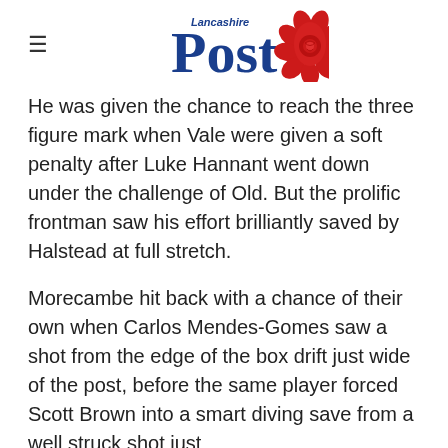Lancashire Post
He was given the chance to reach the three figure mark when Vale were given a soft penalty after Luke Hannant went down under the challenge of Old. But the prolific frontman saw his effort brilliantly saved by Halstead at full stretch.
Morecambe hit back with a chance of their own when Carlos Mendes-Gomes saw a shot from the edge of the box drift just wide of the post, before the same player forced Scott Brown into a smart diving save from a well struck shot just